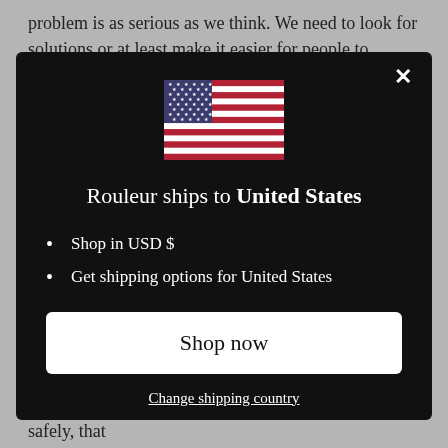problem is as serious as we think. We need to look for solutions or at least make it easier for people to address it,
[Figure (screenshot): A modal dialog popup with a black background. It shows a US flag, the text 'Rouleur ships to United States', bullet points 'Shop in USD $' and 'Get shipping options for United States', a 'Shop now' button, and a 'Change shipping country' link. There is an X close button in the top right.]
Trust is, of course, crucial when it comes to tackling this problem; trust that those affected can speak out safely, that